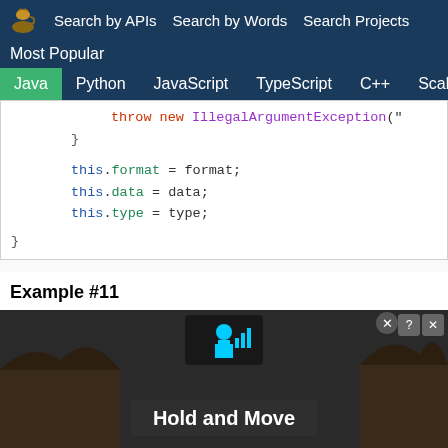Search by APIs   Search by Words   Search Projects
Most Popular
Java  Python  JavaScript  TypeScript  C++  Scala
[Figure (screenshot): Java code snippet showing throw new IllegalArgumentException, closing brace, this.format = format;, this.data = data;, this.type = type;, closing brace]
Example #11
Source Project: Flink-CEPplus  Author: ljygz  File: DataSet.java  Lice...
@SuppressWarnings("unchecked")
[Figure (photo): Advertisement overlay showing Hold and Move text with outdoor winter scene background]